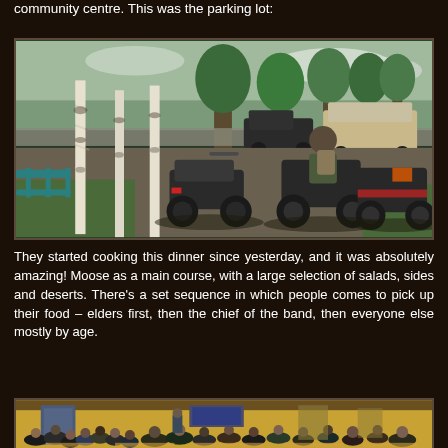community centre. This was the parking lot:
[Figure (photo): Outdoor parking area with several ATVs/quad bikes parked on gravel and grass, birch trees in background, a person with a backpack on an ATV, and vehicles (dark truck and white van) parked on a road in the background. Overcast sky with green trees.]
They started cooking this dinner since yesterday, and it was absolutely amazing! Moose as a main course, with a large selection of salads, sides and deserts. There’s a set sequence in which people comes to pick up their food – elders first, then the chief of the band, then everyone else mostly by age.
[Figure (photo): Indoor community gathering scene showing many people seated at tables in a large hall with yellow/beige walls, a crowd filling the room, some people standing near a screen/board at the front.]